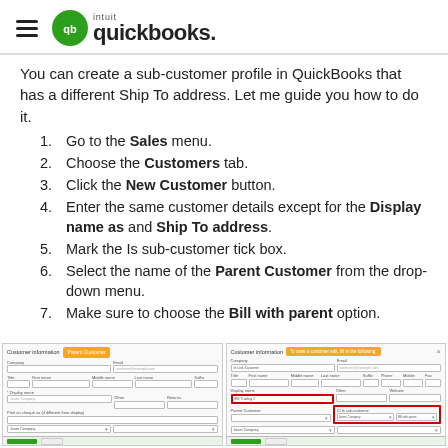QuickBooks by Intuit logo
You can create a sub-customer profile in QuickBooks that has a different Ship To address. Let me guide you how to do it.
1. Go to the Sales menu.
2. Choose the Customers tab.
3. Click the New Customer button.
4. Enter the same customer details except for the Display name as and Ship To address.
5. Mark the Is sub-customer tick box.
6. Select the name of the Parent Customer from the drop-down menu.
7. Make sure to choose the Bill with parent option.
[Figure (screenshot): Two QuickBooks Customer information dialog screenshots showing the Parent Customer form on the left and the sub-customer form with Display name and Is sub-customer fields highlighted in red on the right.]